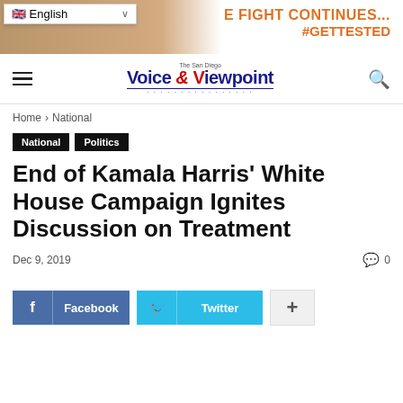[Figure (other): Banner advertisement with people smiling, text reading 'THE FIGHT CONTINUES... #GETTESTED' in orange]
Voice & Viewpoint — San Diego newspaper navigation header with hamburger menu and search icon
Home › National
National   Politics
End of Kamala Harris' White House Campaign Ignites Discussion on Treatment
Dec 9, 2019   0
Facebook   Twitter   +